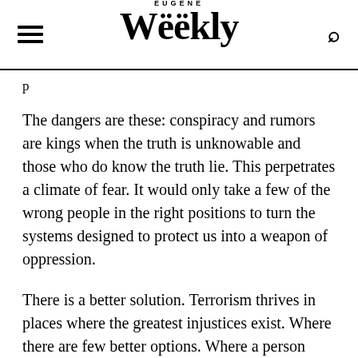EUGENE Weekly
The dangers are these: conspiracy and rumors are kings when the truth is unknowable and those who do know the truth lie. This perpetrates a climate of fear. It would only take a few of the wrong people in the right positions to turn the systems designed to protect us into a weapon of oppression.
There is a better solution. Terrorism thrives in places where the greatest injustices exist. Where there are few better options. Where a person may sign up with the jihaddis just to put food on